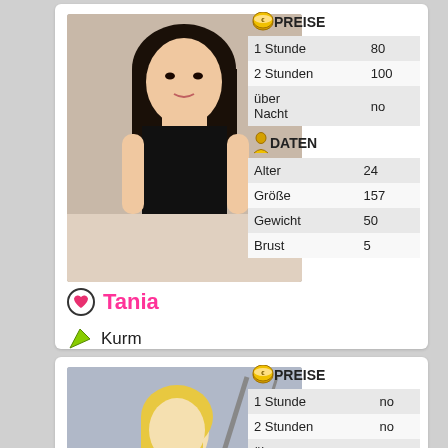[Figure (photo): Young woman with long dark hair wearing black outfit, posing]
Tania
Kurm
96894880193
| PREISE |  |
| --- | --- |
| 1 Stunde | 80 |
| 2 Stunden | 100 |
| über Nacht | no |
| DATEN |  |
| --- | --- |
| Alter | 24 |
| Größe | 157 |
| Gewicht | 50 |
| Brust | 5 |
[Figure (photo): Blonde woman in bikini posing on stairs]
| PREISE |  |
| --- | --- |
| 1 Stunde | no |
| 2 Stunden | no |
| über Nacht | no |
| DATEN |  |
| --- | --- |
| Alter | 26 |
| Größe | 165 |